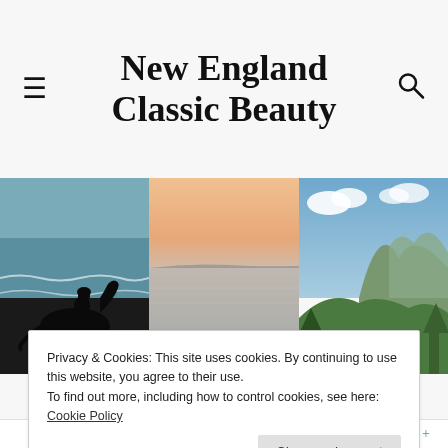New England Classic Beauty
[Figure (photo): Silhouette of a person riding a horse on a beach with ocean waves in the background]
[Figure (photo): Calm water with a pastel pink and orange sunset sky]
[Figure (photo): Green mountain landscape with blue sky and clouds]
AUTHOR: CAREOFMON
Privacy & Cookies: This site uses cookies. By continuing to use this website, you agree to their use.
To find out more, including how to control cookies, see here: Cookie Policy
Close and accept